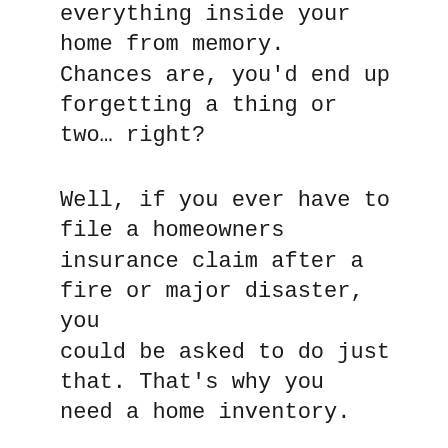everything inside your home from memory. Chances are, you'd end up forgetting a thing or two… right?
Well, if you ever have to file a homeowners insurance claim after a fire or major disaster, you could be asked to do just that. That's why you need a home inventory.
A home inventory is exactly what it sounds like. It's a list of all your personal possessions, along with their estimated value. And it's a great way to help protect the contents of your home.
Read more: